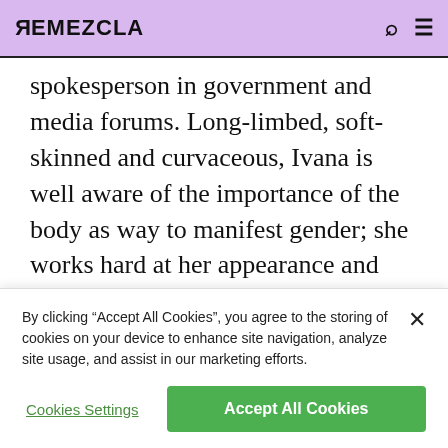REMEZCLA
spokesperson in government and media forums. Long-limbed, soft-skinned and curvaceous, Ivana is well aware of the importance of the body as way to manifest gender; she works hard at her appearance and wants to show it off. She takes what she calls a “logical” and “realistic” approach to her understanding of anatomy and creation of self. She believes a transsexual to be anyone who perceives incongruence between their biological sex and what they see in the mirror, whether
By clicking “Accept All Cookies”, you agree to the storing of cookies on your device to enhance site navigation, analyze site usage, and assist in our marketing efforts.
Cookies Settings
Accept All Cookies